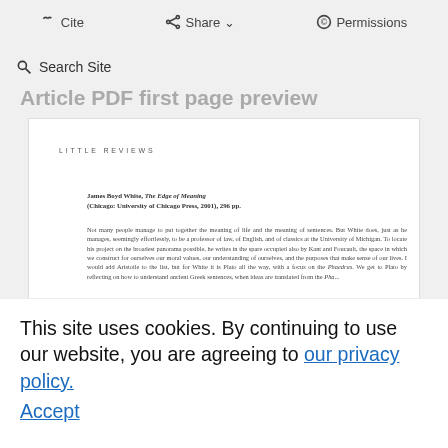The text of this article is only available as a PDF.
Cite | Share | Permissions
Search Site | Duke University Press
Article PDF first page preview
LITTLE REVIEWS
James Boyd White, The Edge of Meaning (Chicago: University of Chicago Press, 2001), 296 pp.
Not many people manage to put together the meaning of life and the meaning of sentences. But White does, just as he manages, seemingly effortlessly, to be a professor of law, of English, and of classics at the University of Michigan. To locate his project on the broadest panorama possible, he writes in the spare occupied also by Kant and Foucault, the space in which we construct for ourselves our moral values, our understanding of ourselves, and the purposes that make sense of our lives. I would add Aristotle to the list, but for White it is Plato all the way, with a focus on the Phaedrus. We get to Plato by reflecting on how to understand ancient Greek sentences, when ideas are translated from the ...
This site uses cookies. By continuing to use our website, you are agreeing to our privacy policy. Accept